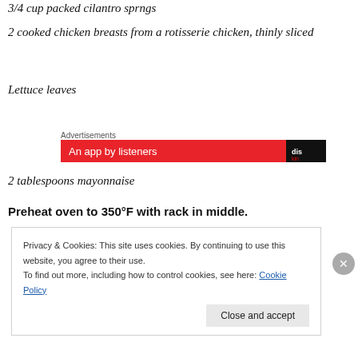3/4 cup packed cilantro sprngs
2 cooked chicken breasts from a rotisserie chicken, thinly sliced
Lettuce leaves
[Figure (other): Advertisements banner with red background and text 'An app by listeners']
2 tablespoons mayonnaise
Preheat oven to 350°F with rack in middle.
Privacy & Cookies: This site uses cookies. By continuing to use this website, you agree to their use.
To find out more, including how to control cookies, see here: Cookie Policy